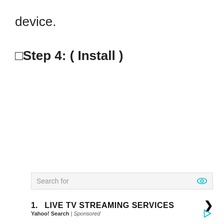device.
🔲Step 4: ( Install )
Search for
1. LIVE TV STREAMING SERVICES
Yahoo! Search | Sponsored